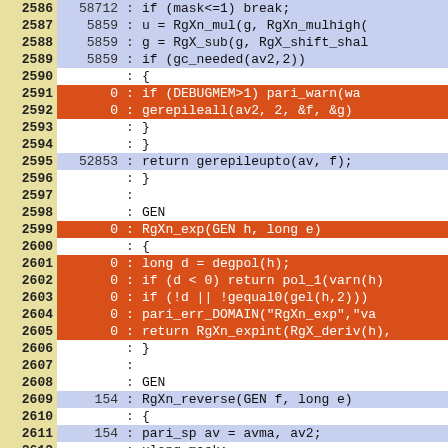[Figure (screenshot): Code coverage/profiling table showing line numbers (2586-2615), execution counts, colons, and source code lines. Rows are color-coded: yellow background for line number column, blue background for executed lines, orange/red background for unexecuted lines, white for lines with no count.]